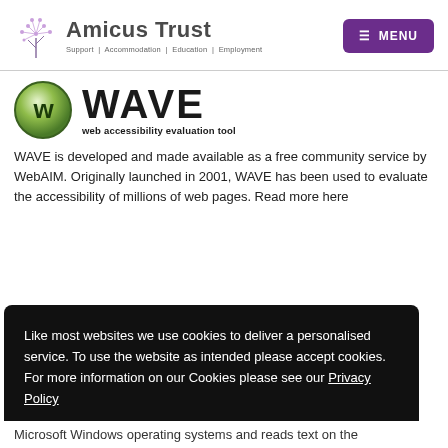Amicus Trust — Support | Accommodation | Education | Employment — MENU
[Figure (logo): WAVE web accessibility evaluation tool logo — circular green W icon with WAVE text and subtitle 'web accessibility evaluation tool']
WAVE is developed and made available as a free community service by WebAIM. Originally launched in 2001, WAVE has been used to evaluate the accessibility of millions of web pages. Read more here
Like most websites we use cookies to deliver a personalised service. To use the website as intended please accept cookies. For more information on our Cookies please see our Privacy Policy
Accept Cookies
Microsoft Windows operating systems and reads text on the